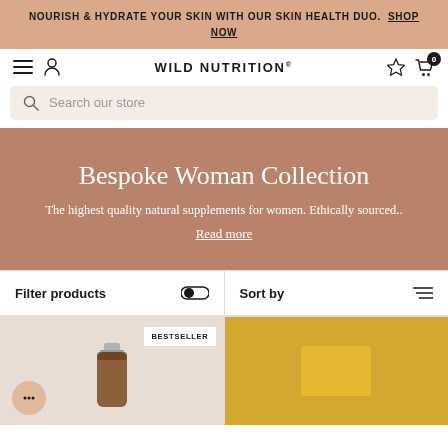NOURISH & HYDRATE YOUR SKIN WITH OUR SKIN HEALTH DUO. SHOP NOW
WILD NUTRITION®
Search our store
Bespoke Woman Collection
The highest quality natural supplements for women. Ethically sourced... Read more
Filter products
Sort by
[Figure (photo): Bottom portion of e-commerce page showing product grid with an amber supplement bottle labeled BESTSELLER on the left and a yellow box on the right]
BESTSELLER